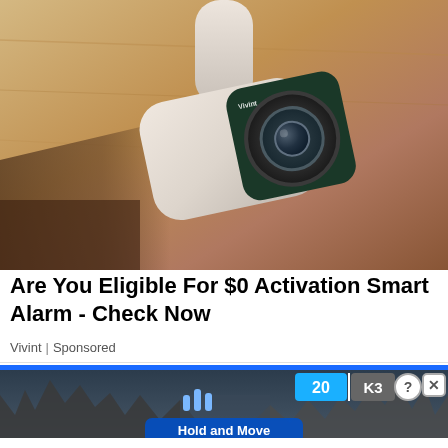[Figure (photo): Close-up photo of a white smart security camera with dark green/teal square face and circular lens, mounted on a ceiling with warm wood-toned background]
Are You Eligible For $0 Activation Smart Alarm - Check Now
Vivint | Sponsored
[Figure (screenshot): Advertisement banner showing a highway/road scene with trees in background, a blue speed sign overlay showing '20' and 'K3', a 'Hold and Move' instruction overlay with blue bar icons, and close/info buttons in top right corner]